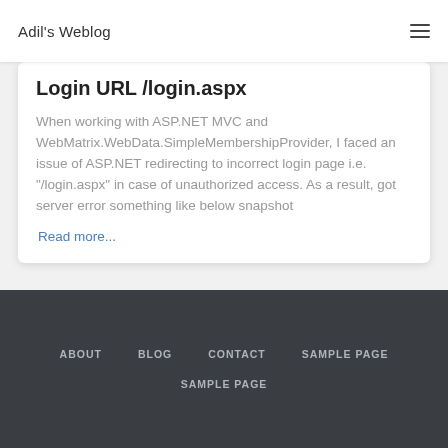Adil's Weblog
Login URL /login.aspx
When working with ASP.NET MVC and WebMatrix.WebData.SimpleMembershipProvider, I faced an issue of ASP.NET redirecting to incorrect login page i.e. "/login.aspx" in case of unauthorized access. As a result, got server error something like below snapshot
Read more...
ABOUT  BLOG  CONTACT  SAMPLE PAGE  SAMPLE PAGE